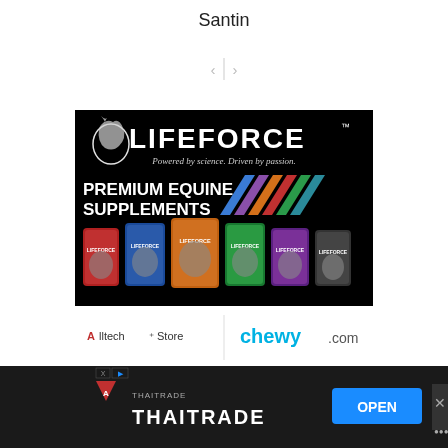Santin
[Figure (illustration): LIFEFORCE Premium Equine Supplements advertisement on black background showing product pouches in various colors (red, blue, orange, green, purple) with horse imagery. Bottom shows Alltech Store and Chewy.com retailer logos.]
[Figure (illustration): Bottom banner advertisement for THAITRADE with blue OPEN button and close X button.]